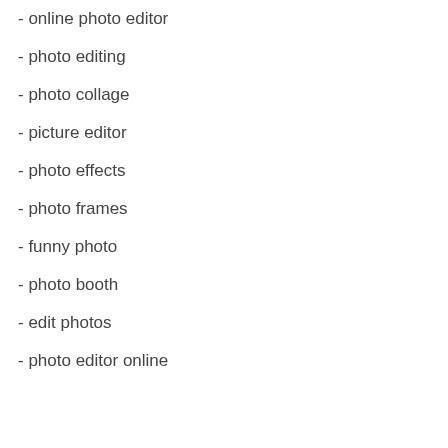- online photo editor
- photo editing
- photo collage
- picture editor
- photo effects
- photo frames
- funny photo
- photo booth
- edit photos
- photo editor online